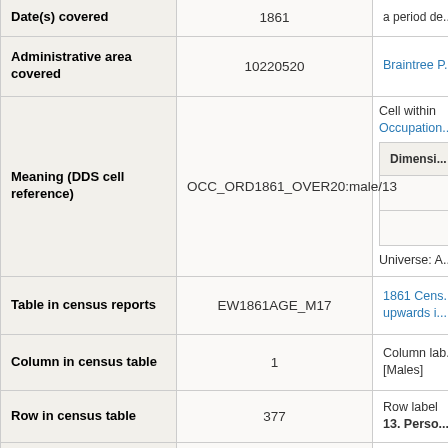| Field | Value | Details |
| --- | --- | --- |
| Date(s) covered | 1861 | a period de... |
| Administrative area covered | 10220520 | Braintree P... |
| Meaning (DDS cell reference) | OCC_ORD1861_OVER20:male/13 | Cell within Occupation... Dimensi... Universe: A... |
| Table in census reports | EW1861AGE_M17 | 1861 Cens... upwards i... |
| Column in census table | 1 | Column lab... [Males] |
| Row in census table | 377 | Row label 13. Perso... |
| Credits | GATLEYD_occ_1861 | Contribute... David Alla... Restrictio... commerc... |